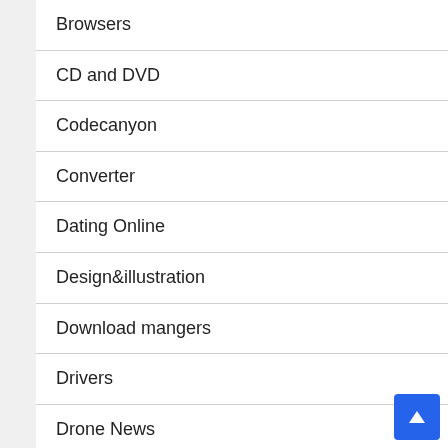Browsers
CD and DVD
Codecanyon
Converter
Dating Online
Design&illustration
Download mangers
Drivers
Drone News